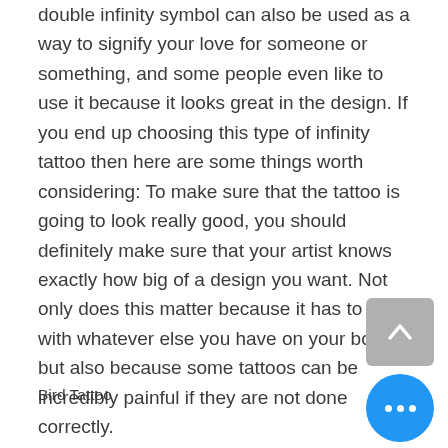double infinity symbol can also be used as a way to signify your love for someone or something, and some people even like to use it because it looks great in the design. If you end up choosing this type of infinity tattoo then here are some things worth considering: To make sure that the tattoo is going to look really good, you should definitely make sure that your artist knows exactly how big of a design you want. Not only does this matter because it has to fit in with whatever else you have on your body, but also because some tattoos can be incredibly painful if they are not done correctly.
Bird Tattoo